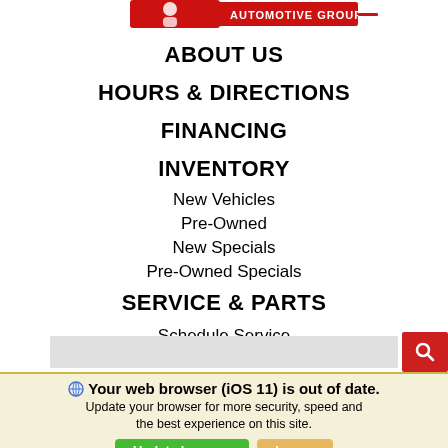[Figure (logo): Automotive group logo with red branding at the top of the page]
ABOUT US
HOURS & DIRECTIONS
FINANCING
INVENTORY
New Vehicles
Pre-Owned
New Specials
Pre-Owned Specials
SERVICE & PARTS
Schedule Service
[Figure (screenshot): Search input bar with a red search button containing a magnifying glass icon]
Your web browser (iOS 11) is out of date. Update your browser for more security, speed and the best experience on this site.
Update browser   Ignore